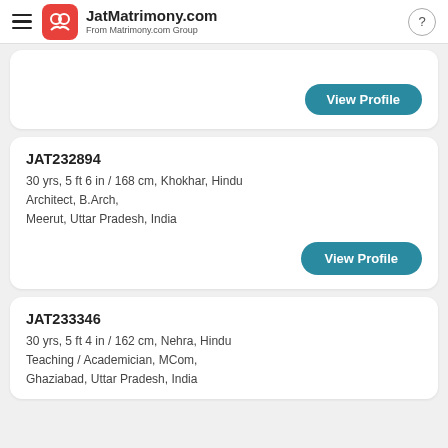JatMatrimony.com — From Matrimony.com Group
View Profile
JAT232894
30 yrs, 5 ft 6 in / 168 cm, Khokhar, Hindu
Architect, B.Arch,
Meerut, Uttar Pradesh, India
View Profile
JAT233346
30 yrs, 5 ft 4 in / 162 cm, Nehra, Hindu
Teaching / Academician, MCom,
Ghaziabad, Uttar Pradesh, India